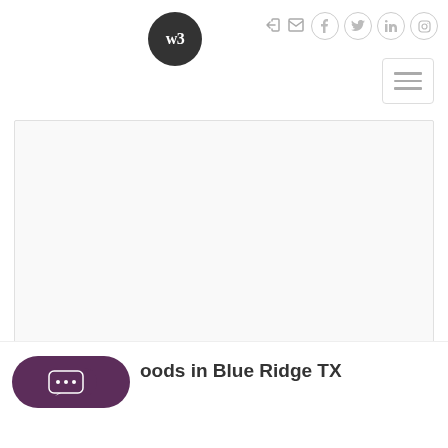[Figure (logo): Round dark logo with WB letters in white]
[Figure (screenshot): Navigation bar with login, email, Facebook, Twitter, LinkedIn, Instagram icons and hamburger menu]
[Figure (photo): Large white/blank image content area]
[Figure (illustration): Purple rounded chat button with speech bubble and ellipsis dots]
oods in Blue Ridge TX